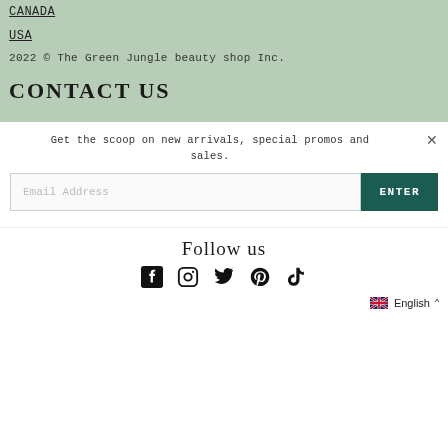CANADA
USA
2022 © The Green Jungle beauty shop Inc.
CONTACT US
Get the scoop on new arrivals, special promos and sales.
Email Address
ENTER
Follow us
[Figure (infographic): Social media icons: Facebook, Instagram, Twitter, Pinterest, TikTok]
English